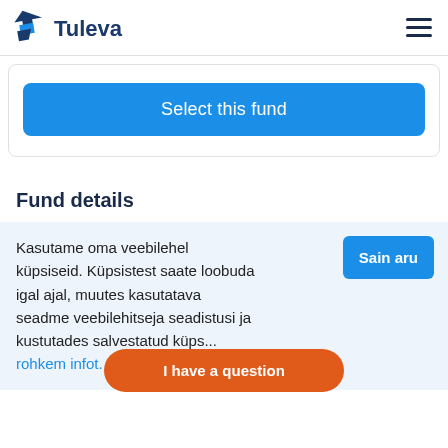[Figure (logo): Tuleva logo with stylized blue arrow/bird icon and 'Tuleva' text in dark blue]
Select this fund
Fund details
Kasutame oma veebilehel küpsiseid. Küpsistest saate loobuda igal ajal, muutes kasutatava seadme veebilehitseja seadistusi ja kustutades salvestatud küps... rohkem infot.
Sain aru
I have a question